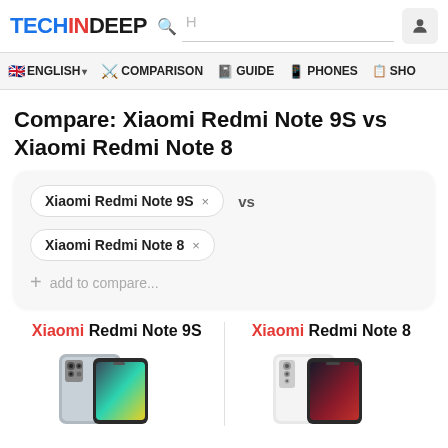TECHINDEEP
ENGLISH  COMPARISON  GUIDE  PHONES  SHO
Compare: Xiaomi Redmi Note 9S vs Xiaomi Redmi Note 8
Xiaomi Redmi Note 9S × vs
Xiaomi Redmi Note 8 ×
+ add to compare...
Xiaomi Redmi Note 9S    Xiaomi Redmi Note 8
[Figure (photo): Photo of Xiaomi Redmi Note 9S smartphone (gray, front+back view)]
[Figure (photo): Photo of Xiaomi Redmi Note 8 smartphone (white, front+back view)]